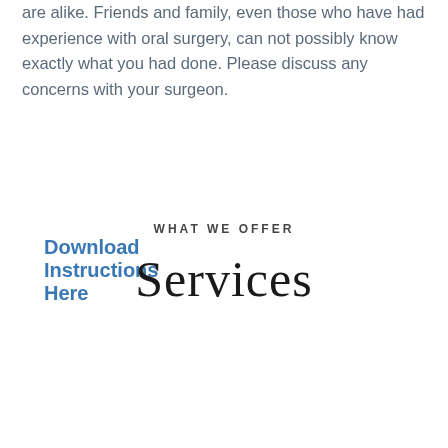are alike. Friends and family, even those who have had experience with oral surgery, can not possibly know exactly what you had done. Please discuss any concerns with your surgeon.
Download Instructions Here
WHAT WE OFFER
Services
[Figure (illustration): Gray card/tile showing 'Dental Implants' with 'more info' and a right arrow circle below, on a white background.]